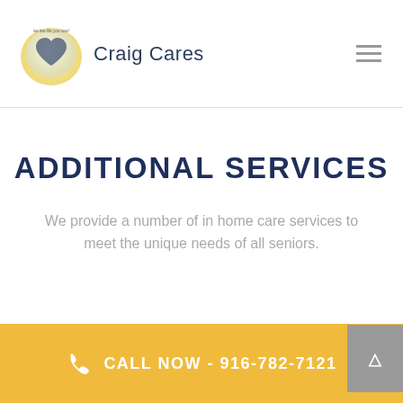Craig Cares
ADDITIONAL SERVICES
We provide a number of in home care services to meet the unique needs of all seniors.
CALL NOW - 916-782-7121